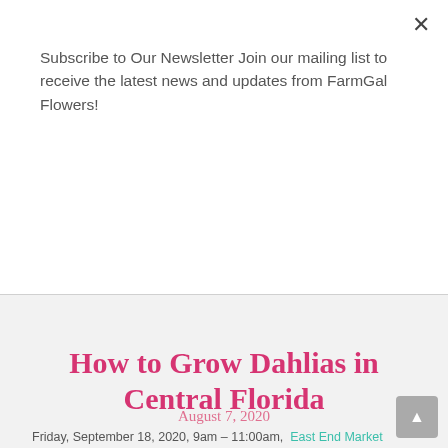Subscribe to Our Newsletter Join our mailing list to receive the latest news and updates from FarmGal Flowers!
Subscribe
How to Grow Dahlias in Central Florida
August 7, 2020
Friday, September 18, 2020, 9am – 11:00am,  East End Market